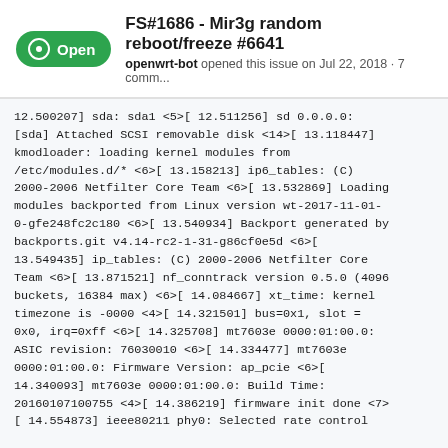FS#1686 - Mir3g random reboot/freeze #6641
openwrt-bot opened this issue on Jul 22, 2018 · 7 comm...
12.500207] sda: sda1 <5>[ 12.511256] sd 0.0.0.0: [sda] Attached SCSI removable disk <14>[ 13.118447] kmodloader: loading kernel modules from /etc/modules.d/* <6>[ 13.158213] ip6_tables: (C) 2000-2006 Netfilter Core Team <6>[ 13.532869] Loading modules backported from Linux version wt-2017-11-01-0-gfe248fc2c180 <6>[ 13.540934] Backport generated by backports.git v4.14-rc2-1-31-g86cf0e5d <6>[ 13.549435] ip_tables: (C) 2000-2006 Netfilter Core Team <6>[ 13.871521] nf_conntrack version 0.5.0 (4096 buckets, 16384 max) <6>[ 14.084667] xt_time: kernel timezone is -0000 <4>[ 14.321501] bus=0x1, slot = 0x0, irq=0xff <6>[ 14.325708] mt7603e 0000:01:00.0: ASIC revision: 76030010 <6>[ 14.334477] mt7603e 0000:01:00.0: Firmware Version: ap_pcie <6>[ 14.340093] mt7603e 0000:01:00.0: Build Time: 20160107100755 <4>[ 14.386219] firmware init done <7>[ 14.554873] ieee80211 phy0: Selected rate control